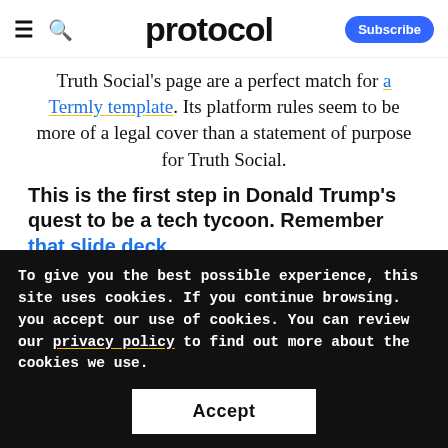protocol
Truth Social's page are a perfect match for a Termly template. Its platform rules seem to be more of a legal cover than a statement of purpose for Truth Social.
This is the first step in Donald Trump's quest to be a tech tycoon. Remember that slide deck from last year in which TMTG promised to
To give you the best possible experience, this site uses cookies. If you continue browsing. you accept our use of cookies. You can review our privacy policy to find out more about the cookies we use.
Accept